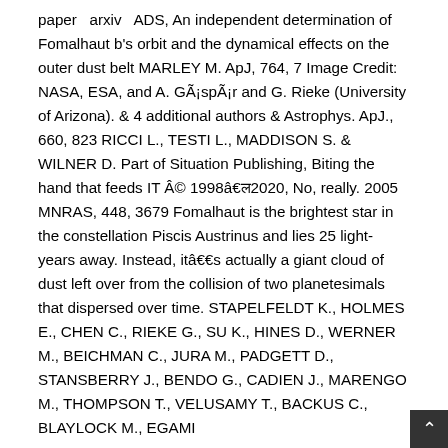paper  arxiv  ADS, An independent determination of Fomalhaut b's orbit and the dynamical effects on the outer dust belt MARLEY M. ApJ, 764, 7 Image Credit: NASA, ESA, and A. GÃ¡spÃ¡r and G. Rieke (University of Arizona). & 4 additional authors & Astrophys. ApJ., 660, 823 RICCI L., TESTI L., MADDISON S. & WILNER D. Part of Situation Publishing, Biting the hand that feeds IT Â© 1998â2020, No, really. 2005 MNRAS, 448, 3679 Fomalhaut is the brightest star in the constellation Piscis Austrinus and lies 25 light-years away. Instead, itâs actually a giant cloud of dust left over from the collision of two planetesimals that dispersed over time. STAPELFELDT K., HOLMES E., CHEN C., RIEKE G., SU K., HINES D., WERNER M., BEICHMAN C., JURA M., PADGETT D., STANSBERRY J., BENDO G., CADIEN J., MARENGO M., THOMPSON T., VELUSAMY T., BACKUS C., BLAYLOCK M., EGAMI